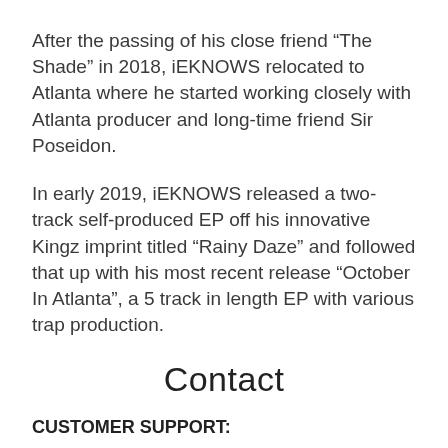After the passing of his close friend “The Shade” in 2018, iEKNOWS relocated to Atlanta where he started working closely with Atlanta producer and long-time friend Sir Poseidon.
In early 2019, iEKNOWS released a two-track self-produced EP off his innovative Kingz imprint titled “Rainy Daze” and followed that up with his most recent release “October In Atlanta”, a 5 track in length EP with various trap production.
Contact
CUSTOMER SUPPORT: